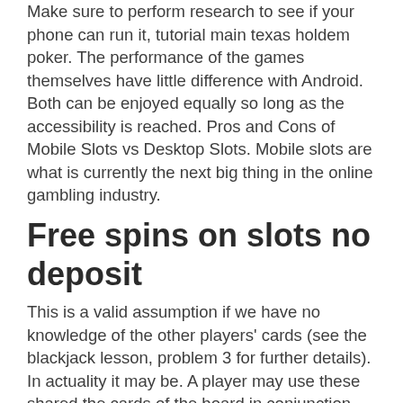Make sure to perform research to see if your phone can run it, tutorial main texas holdem poker. The performance of the games themselves have little difference with Android. Both can be enjoyed equally so long as the accessibility is reached. Pros and Cons of Mobile Slots vs Desktop Slots. Mobile slots are what is currently the next big thing in the online gambling industry.
Free spins on slots no deposit
This is a valid assumption if we have no knowledge of the other players' cards (see the blackjack lesson, problem 3 for further details). In actuality it may be. A player may use these shared the cards of the board in conjunction with their own hole cards to make their highest possible poker hand. Cara bermain texas hold'em poker apk. Kalian membutuhkan tutorial